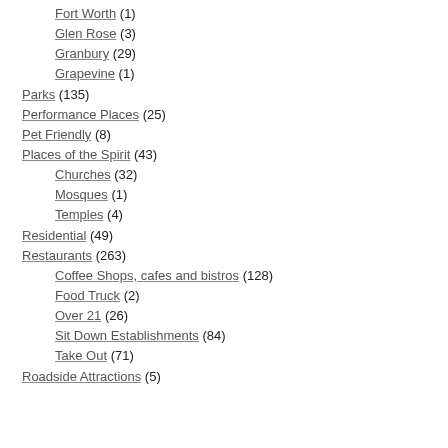Fort Worth (1)
Glen Rose (3)
Granbury (29)
Grapevine (1)
Parks (135)
Performance Places (25)
Pet Friendly (8)
Places of the Spirit (43)
Churches (32)
Mosques (1)
Temples (4)
Residential (49)
Restaurants (263)
Coffee Shops, cafes and bistros (128)
Food Truck (2)
Over 21 (26)
Sit Down Establishments (84)
Take Out (71)
Roadside Attractions (5)